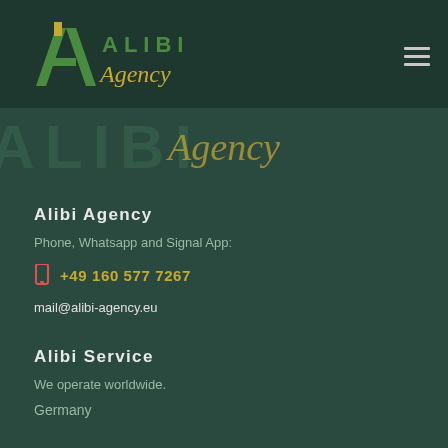Alibi Agency — logo and navigation header
[Figure (logo): Alibi Agency logo with stylized A icon in green and gold script 'Agency' text, with watermark repetition below]
Alibi Agency
Phone, Whatsapp and Signal App:
+49 160 577 7267
mail@alibi-agency.eu
Alibi Service
We operate worldwide.
Germany